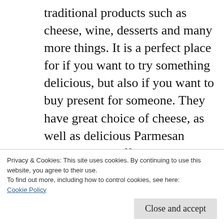traditional products such as cheese, wine, desserts and many more things. It is a perfect place for if you want to try something delicious, but also if you want to buy present for someone. They have great choice of cheese, as well as delicious Parmesan cheese. The staff is awesome and they will be happy to give you some recommendations. They offer free tasting of cheese and wine so you can be sure you like it, before you take it
Privacy & Cookies: This site uses cookies. By continuing to use this website, you agree to their use.
To find out more, including how to control cookies, see here:
Cookie Policy
Close and accept